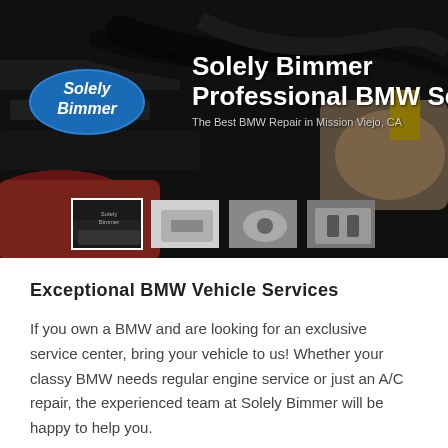[Figure (photo): Hero banner showing a mechanic working on a BMW engine bay (dark, greasy engine components visible), with the Solely Bimmer oval logo on the left and large bold white text on the right reading 'Solely Bimmer Professional BMW Se' and subtitle 'The Best BMW Repair in Mission Viejo, CA'. Four small thumbnail images are shown at the bottom center of the banner.]
Exceptional BMW Vehicle Services
If you own a BMW and are looking for an exclusive service center, bring your vehicle to us! Whether your classy BMW needs regular engine service or just an A/C repair, the experienced team at Solely Bimmer will be happy to help you.